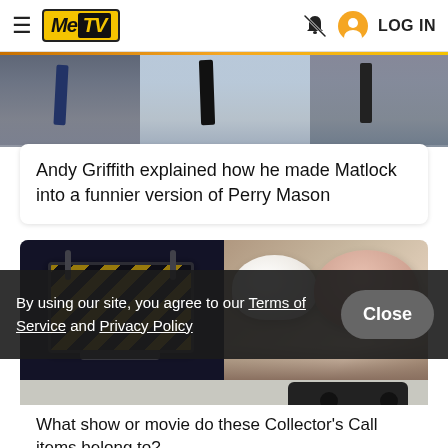MeTV — LOG IN
[Figure (photo): Partial view of men in suits, cropped at waist/chest level]
Andy Griffith explained how he made Matlock into a funnier version of Perry Mason
[Figure (photo): Two-panel image: left shows a yellow-and-black striped device (prop/gadget) on dark background; right shows fluffy white and pink wigs/fur on a wooden surface]
What show or movie do these Collector's Call items belong to?
By using our site, you agree to our Terms of Service and Privacy Policy